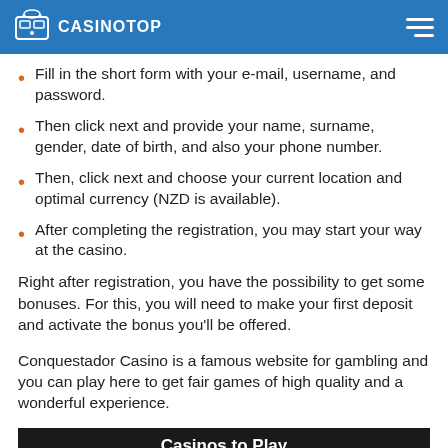CASINOTOP
Fill in the short form with your e-mail, username, and password.
Then click next and provide your name, surname, gender, date of birth, and also your phone number.
Then, click next and choose your current location and optimal currency (NZD is available).
After completing the registration, you may start your way at the casino.
Right after registration, you have the possibility to get some bonuses. For this, you will need to make your first deposit and activate the bonus you'll be offered.
Conquestador Casino is a famous website for gambling and you can play here to get fair games of high quality and a wonderful experience.
Casinos to Play